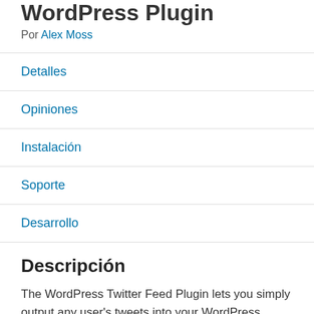WordPress Plugin
Por Alex Moss
Detalles
Opiniones
Instalación
Soporte
Desarrollo
Descripción
The WordPress Twitter Feed Plugin lets you simply output any user's tweets into your WordPress page, template or sidebar! You can customise the username, number of tweets, and style of ouput.